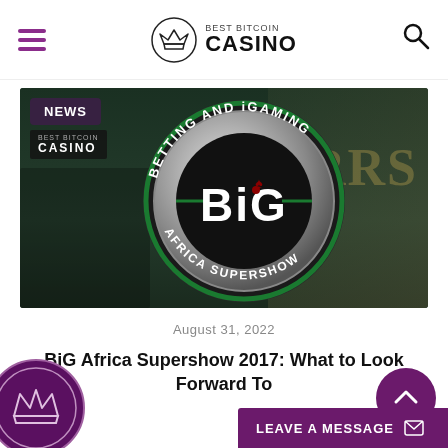BEST BITCOIN CASINO
[Figure (screenshot): BiG Africa Supershow 2017 logo — circular metallic badge reading BETTING AND iGAMING / BiG / AFRICA SUPERSHOW, overlaid on a dark casino background with NEWS badge and Best Bitcoin Casino logo]
August 31, 2022
BiG Africa Supershow 2017: What to Look Forward To